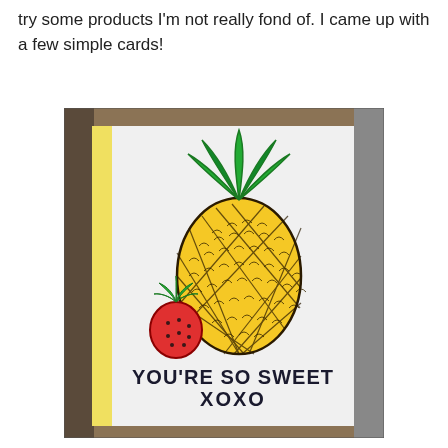try some products I'm not really fond of. I came up with a few simple cards!
[Figure (photo): A handmade greeting card with a pineapple and strawberry illustration. The card is on a white textured background with a yellow stripe on the left side. The pineapple is yellow with a diamond pattern and green leaves on top. A strawberry sits at the lower left of the pineapple. Text on the card reads 'YOU'RE SO SWEET XOXO' in bold black lettering.]